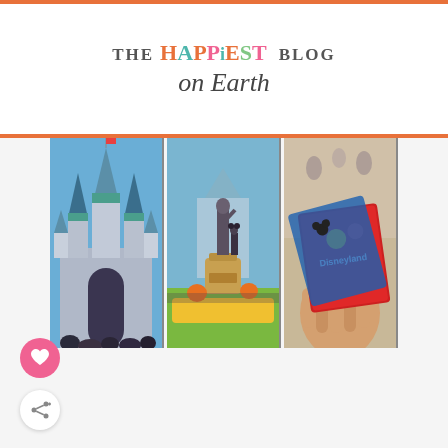THE HAPPIEST BLOG on Earth
[Figure (photo): Three Disneyland photos side by side: left - Sleeping Beauty Castle entrance with crowd; center - Partners statue (Walt Disney and Mickey Mouse) on pedestal surrounded by flowers and pumpkins; right - hand holding Disneyland park tickets/cards]
[Figure (illustration): Pink circular heart/like button icon]
[Figure (illustration): White circular share button icon with share symbol]